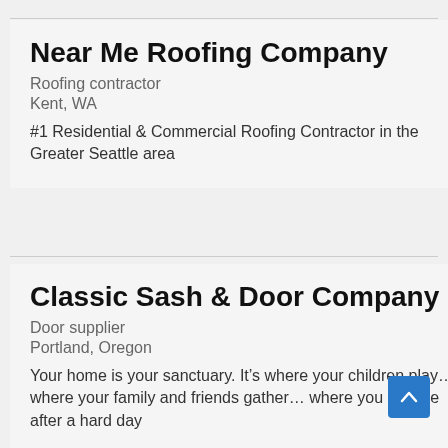Near Me Roofing Company
Roofing contractor
Kent, WA
#1 Residential & Commercial Roofing Contractor in the Greater Seattle area
Classic Sash & Door Company
Door supplier
Portland, Oregon
Your home is your sanctuary. It’s where your children play… where your family and friends gather… where you escape after a hard day